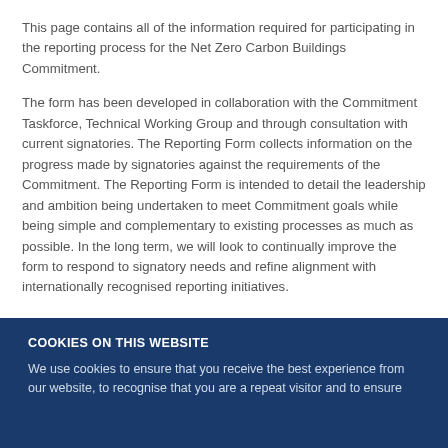This page contains all of the information required for participating in the reporting process for the Net Zero Carbon Buildings Commitment.
The form has been developed in collaboration with the Commitment Taskforce, Technical Working Group and through consultation with current signatories. The Reporting Form collects information on the progress made by signatories against the requirements of the Commitment. The Reporting Form is intended to detail the leadership and ambition being undertaken to meet Commitment goals while being simple and complementary to existing processes as much as possible. In the long term, we will look to continually improve the form to respond to signatory needs and refine alignment with internationally recognised reporting initiatives.
COOKIES ON THIS WEBSITE
We use cookies to ensure that you receive the best experience from our website, to recognise that you are a repeat visitor and to ensure